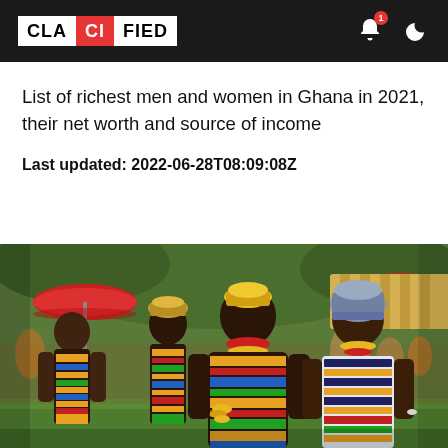CLASSIFIED
List of richest men and women in Ghana in 2021, their net worth and source of income
Last updated: 2022-06-28T08:09:08Z
[Figure (photo): Ghanaian people in traditional Kente cloth outfits at an outdoor cultural event, with colorful umbrellas in the background]